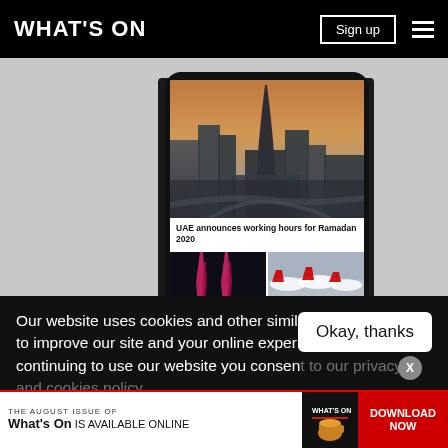WHAT'S ON
[Figure (screenshot): Phone mockup showing a What's On app/website with a Dubai skyline hero image, headline 'UAE announces working hours for Ramadan 2020', and two smaller story thumbnails below]
EDITOR'S PICKS
Our website uses cookies and other similar technologies to improve our site and your online experience. By continuing to use our website you consent to our privacy and cookies policy.
Okay, thanks
THE AUGUST ISSUE OF What's On IS AVAILABLE ONLINE
DOWNLOAD NOW